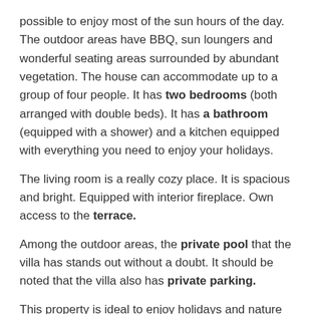possible to enjoy most of the sun hours of the day. The outdoor areas have BBQ, sun loungers and wonderful seating areas surrounded by abundant vegetation. The house can accommodate up to a group of four people. It has two bedrooms (both arranged with double beds). It has a bathroom (equipped with a shower) and a kitchen equipped with everything you need to enjoy your holidays.
The living room is a really cozy place. It is spacious and bright. Equipped with interior fireplace. Own access to the terrace.
Among the outdoor areas, the private pool that the villa has stands out without a doubt. It should be noted that the villa also has private parking.
This property is ideal to enjoy holidays and nature at any time of the year. Especially suitable for groups. Calm environment and surroundings.
Torrox belongs to the Costa del Sol located in the province of Malaga. It is an ideal destination to enjoy the Sun, having an average annual temperature of 18 degrees. In fact, Torrox is